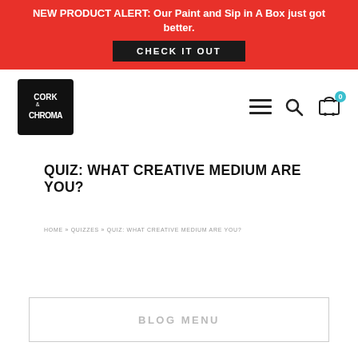NEW PRODUCT ALERT: Our Paint and Sip in A Box just got better. CHECK IT OUT
[Figure (logo): Cork & Chroma logo — black brushstroke style square badge with text CORK & CHROMA]
QUIZ: WHAT CREATIVE MEDIUM ARE YOU?
HOME » QUIZZES » QUIZ: WHAT CREATIVE MEDIUM ARE YOU?
BLOG MENU